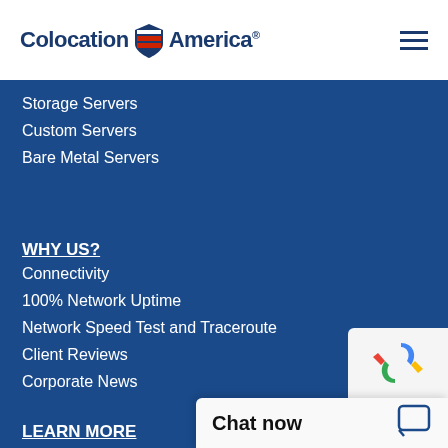Colocation America
Storage Servers
Custom Servers
Bare Metal Servers
WHY US?
Connectivity
100% Network Uptime
Network Speed Test and Traceroute
Client Reviews
Corporate News
LEARN MORE
Data Center Tier Standards
How Does Ping Work
Calculate Bandwidth
IP Addresses and Sub...
IPv4 Subnet Chart
Chat now